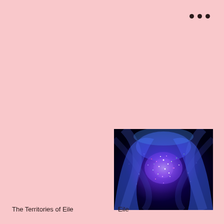• • •
[Figure (photo): Dark cosmic/microscopic image with blue, purple and pink sparkling light clusters against a black background, showing a swirling organic form]
The Territories of Eile
Eile